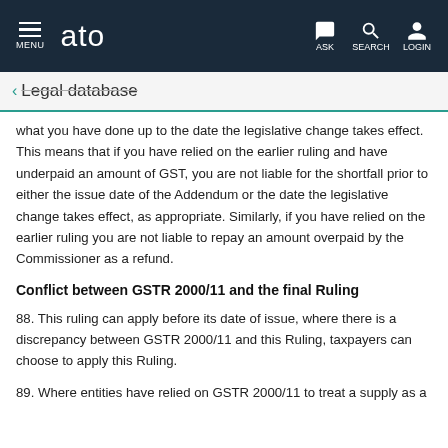MENU  ato  ASK  SEARCH  LOGIN
← Legal database
what you have done up to the date the legislative change takes effect. This means that if you have relied on the earlier ruling and have underpaid an amount of GST, you are not liable for the shortfall prior to either the issue date of the Addendum or the date the legislative change takes effect, as appropriate. Similarly, if you have relied on the earlier ruling you are not liable to repay an amount overpaid by the Commissioner as a refund.
Conflict between GSTR 2000/11 and the final Ruling
88. This ruling can apply before its date of issue, where there is a discrepancy between GSTR 2000/11 and this Ruling, taxpayers can choose to apply this Ruling.
89. Where entities have relied on GSTR 2000/11 to treat a supply as a